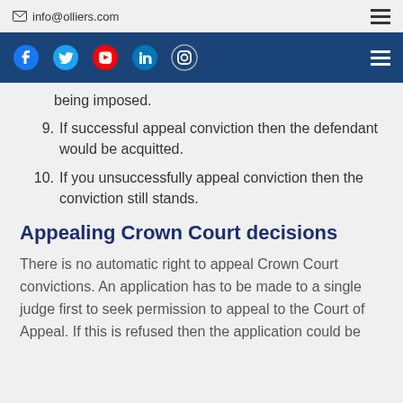info@olliers.com
being imposed.
9. If successful appeal conviction then the defendant would be acquitted.
10. If you unsuccessfully appeal conviction then the conviction still stands.
Appealing Crown Court decisions
There is no automatic right to appeal Crown Court convictions. An application has to be made to a single judge first to seek permission to appeal to the Court of Appeal. If this is refused then the application could be